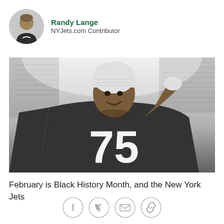Randy Lange
NYJets.com Contributor
[Figure (photo): Black and white photo of a New York Jets football player wearing jersey number 75 and a white knit cap, smiling and posing on the sideline with a stadium crowd in the background.]
February is Black History Month, and the New York Jets
[Figure (other): Social media sharing icons: Facebook, Twitter, email, and link/chain icon]